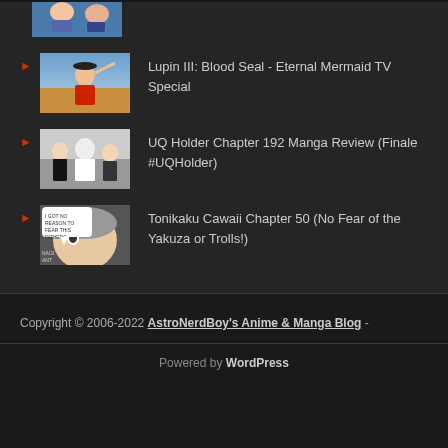[Figure (illustration): Thumbnail image of anime character at top (partially visible)]
Lupin III: Blood Seal - Eternal Mermaid TV Special
[Figure (illustration): Lupin III character thumbnail - red jacket anime character]
UQ Holder Chapter 192 Manga Review (Finale #UQHolder)
[Figure (illustration): UQ Holder manga thumbnail - group of characters]
Tonikaku Cawaii Chapter 50 (No Fear of the Yakuza or Trolls!)
[Figure (illustration): Tonikaku Cawaii manga thumbnail - close up face with speech bubble text]
Copyright © 2006-2022 AstroNerdBoy's Anime & Manga Blog -
Powered by WordPress